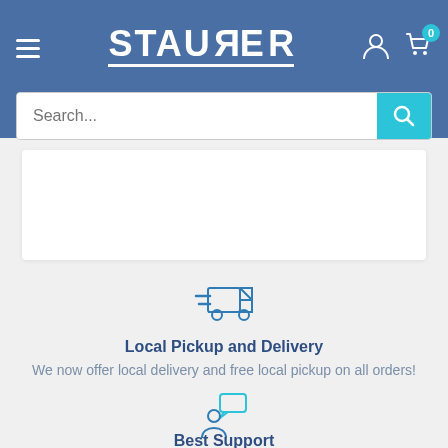[Figure (logo): Stauber logo in white text with reversed R, on blue background header with hamburger menu, user icon, and cart icon with badge 0]
[Figure (screenshot): Search bar with placeholder text 'Search...' and teal search button]
[Figure (illustration): Blue delivery truck icon with speed lines]
Local Pickup and Delivery
We now offer local delivery and free local pickup on all orders!
[Figure (illustration): Blue person with speech bubble icon]
Best Support
Call for a review and help with configuration 1-833-997-3494